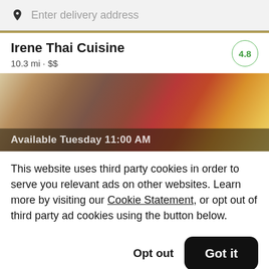Enter delivery address
Irene Thai Cuisine
10.3 mi • $$
[Figure (photo): Food photo showing Thai cuisine dishes with text overlay 'Available Tuesday 11:00 AM']
This website uses third party cookies in order to serve you relevant ads on other websites. Learn more by visiting our Cookie Statement, or opt out of third party ad cookies using the button below.
Opt out
Got it